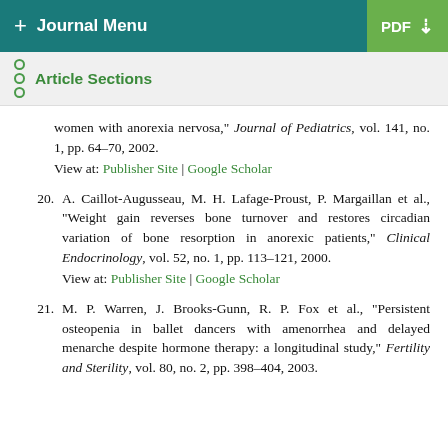+ Journal Menu | PDF
Article Sections
women with anorexia nervosa," Journal of Pediatrics, vol. 141, no. 1, pp. 64–70, 2002.
View at: Publisher Site | Google Scholar
20. A. Caillot-Augusseau, M. H. Lafage-Proust, P. Margaillan et al., "Weight gain reverses bone turnover and restores circadian variation of bone resorption in anorexic patients," Clinical Endocrinology, vol. 52, no. 1, pp. 113–121, 2000.
View at: Publisher Site | Google Scholar
21. M. P. Warren, J. Brooks-Gunn, R. P. Fox et al., "Persistent osteopenia in ballet dancers with amenorrhea and delayed menarche despite hormone therapy: a longitudinal study," Fertility and Sterility, vol. 80, no. 2, pp. 398–404, 2003.